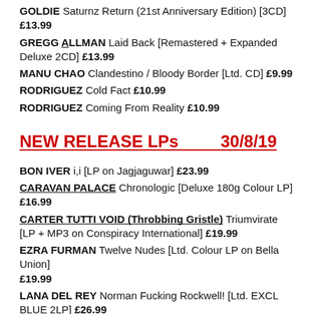GOLDIE Saturnz Return (21st Anniversary Edition) [3CD] £13.99
GREGG ALLMAN Laid Back [Remastered + Expanded Deluxe 2CD] £13.99
MANU CHAO Clandestino / Bloody Border [Ltd. CD] £9.99
RODRIGUEZ Cold Fact £10.99
RODRIGUEZ Coming From Reality £10.99
NEW RELEASE LPs   30/8/19
BON IVER i,i [LP on Jagjaguwar] £23.99
CARAVAN PALACE Chronologic [Deluxe 180g Colour LP] £16.99
CARTER TUTTI VOID (Throbbing Gristle) Triumvirate [LP + MP3 on Conspiracy International] £19.99
EZRA FURMAN Twelve Nudes [Ltd. Colour LP on Bella Union] £19.99
LANA DEL REY Norman Fucking Rockwell! [Ltd. EXCL BLUE 2LP] £26.99